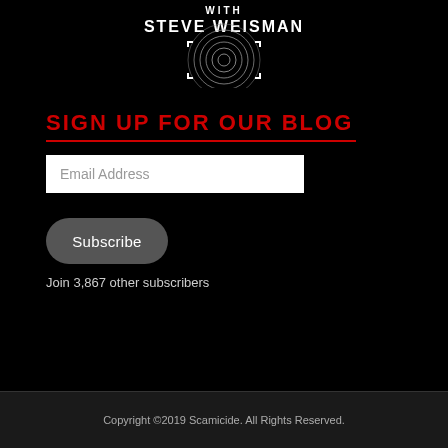[Figure (logo): Scamicide podcast logo with fingerprint graphic, text 'WITH' and 'STEVE WEISMAN' in white on black background]
SIGN UP FOR OUR BLOG
Email Address
Subscribe
Join 3,867 other subscribers
Copyright ©2019 Scamicide. All Rights Reserved.